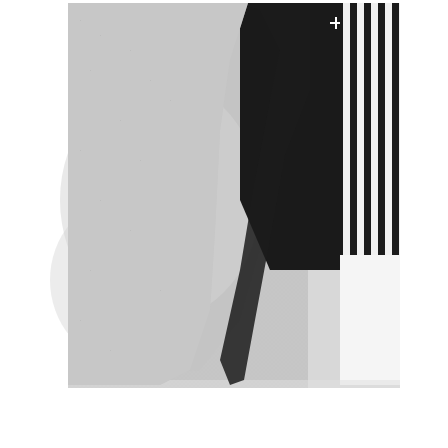[Figure (photo): Close-up photo of clothing items laid flat. On the left, a light heathered gray knit fabric (t-shirt or sweatshirt) takes up the lower-left portion. In the upper-center and right, a black fabric piece with a small white cross/plus symbol is visible. On the far right, a black-and-white vertical stripe fabric is shown. The lower half of the image is mostly white background.]